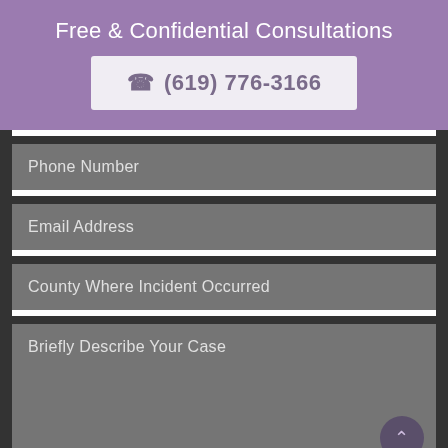Free & Confidential Consultations
(619) 776-3166
Phone Number
Email Address
County Where Incident Occurred
Briefly Describe Your Case